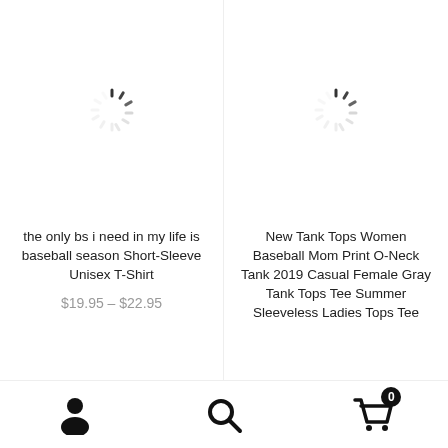[Figure (screenshot): E-commerce product listing page showing two product cards side by side. Left card: loading spinner and title 'the only bs i need in my life is baseball season Short-Sleeve Unisex T-Shirt', price $19.95 - $22.95. Right card: loading spinner and title 'New Tank Tops Women Baseball Mom Print O-Neck Tank 2019 Casual Female Gray Tank Tops Tee Summer Sleeveless Ladies Tops Tee'. Bottom navigation bar with user, search, and cart icons.]
the only bs i need in my life is baseball season Short-Sleeve Unisex T-Shirt
$19.95 – $22.95
New Tank Tops Women Baseball Mom Print O-Neck Tank 2019 Casual Female Gray Tank Tops Tee Summer Sleeveless Ladies Tops Tee